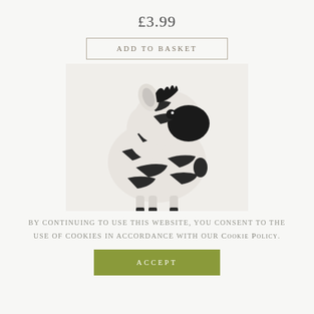£3.99
Add to Basket
[Figure (photo): A small plush zebra toy with black and white stripes, sitting upright against a light background.]
By continuing to use this website, you consent to the use of cookies in accordance with our Cookie Policy.
Accept